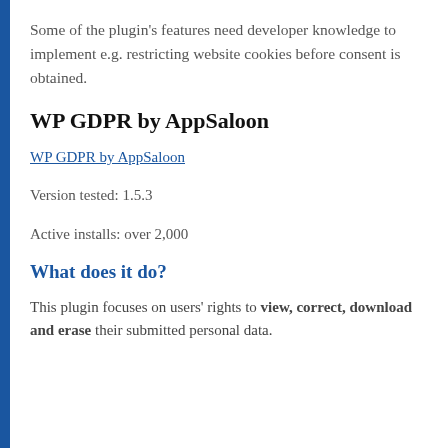Some of the plugin's features need developer knowledge to implement e.g. restricting website cookies before consent is obtained.
WP GDPR by AppSaloon
WP GDPR by AppSaloon
Version tested: 1.5.3
Active installs: over 2,000
What does it do?
This plugin focuses on users' rights to view, correct, download and erase their submitted personal data.